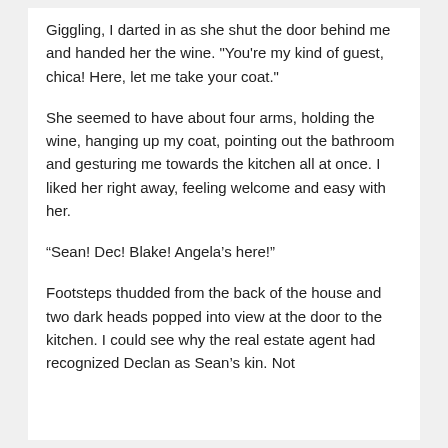Giggling, I darted in as she shut the door behind me and handed her the wine. "You're my kind of guest, chica! Here, let me take your coat."
She seemed to have about four arms, holding the wine, hanging up my coat, pointing out the bathroom and gesturing me towards the kitchen all at once. I liked her right away, feeling welcome and easy with her.
“Sean! Dec! Blake! Angela’s here!”
Footsteps thudded from the back of the house and two dark heads popped into view at the door to the kitchen. I could see why the real estate agent had recognized Declan as Sean’s kin. Not